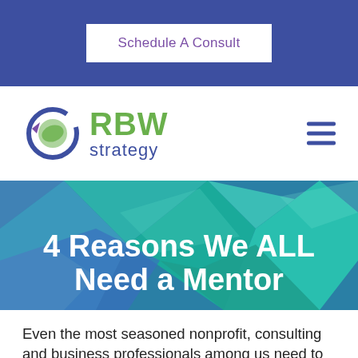Schedule A Consult
[Figure (logo): RBW Strategy logo with circular icon containing a green leaf and purple/blue ring, with green 'RBW' text and blue 'strategy' text]
[Figure (infographic): Geometric polygon background in teal, green, and blue tones with white bold text overlay reading '4 Reasons We ALL Need a Mentor']
4 Reasons We ALL Need a Mentor
Even the most seasoned nonprofit, consulting and business professionals among us need to